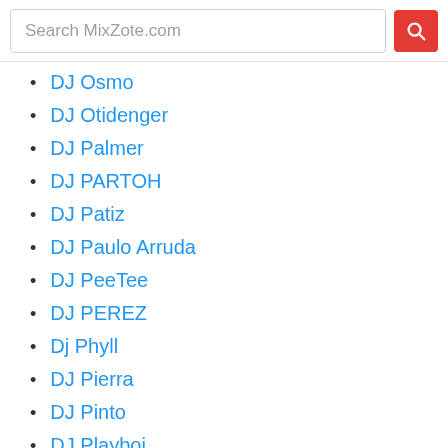Search MixZote.com
DJ Osmo
DJ Otidenger
DJ Palmer
DJ PARTOH
DJ Patiz
DJ Paulo Arruda
DJ PeeTee
DJ PEREZ
Dj Phyll
DJ Pierra
DJ Pinto
DJ Playboi
DJ Premier
Dj Presley